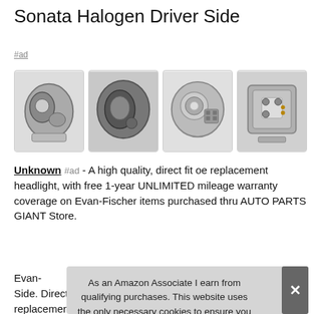Sonata Halogen Driver Side
#ad
[Figure (photo): Four thumbnail images of a car headlight assembly (Hyundai Sonata Halogen Driver Side) shown from different angles, including front view, side view, internal components, and connector plug.]
Unknown #ad - A high quality, direct fit oe replacement headlight, with free 1-year UNLIMITED mileage warranty coverage on Evan-Fischer items purchased thru AUTO PARTS GIANT Store.
Eva... Side. Direct replacement headlight Compatible with 2002-2005
As an Amazon Associate I earn from qualifying purchases. This website uses the only necessary cookies to ensure you get the best experience on our website. More information